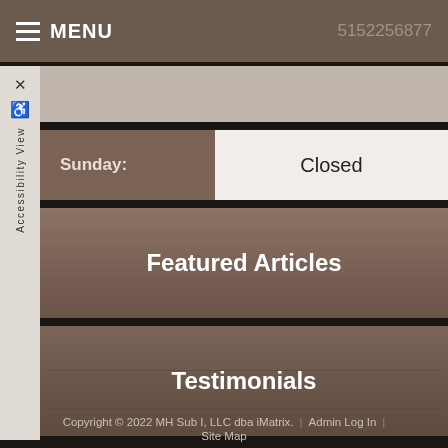MENU  5152256877
| Day | Hours |
| --- | --- |
| Sunday: | Closed |
Featured Articles
Testimonials
Copyright © 2022 MH Sub I, LLC dba iMatrix.  |  Admin Log In  |  Site Map